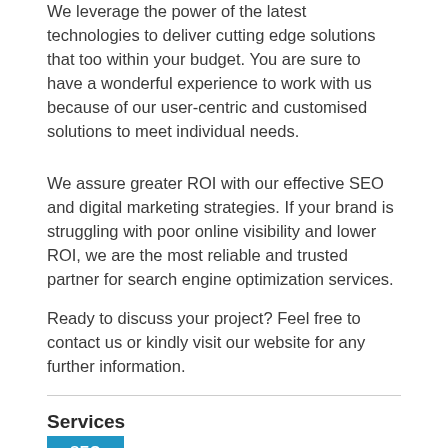We leverage the power of the latest technologies to deliver cutting edge solutions that too within your budget. You are sure to have a wonderful experience to work with us because of our user-centric and customised solutions to meet individual needs.
We assure greater ROI with our effective SEO and digital marketing strategies. If your brand is struggling with poor online visibility and lower ROI, we are the most reliable and trusted partner for search engine optimization services.
Ready to discuss your project? Feel free to contact us or kindly visit our website for any further information.
Services
[Figure (other): Blue button/badge labeled SEO]